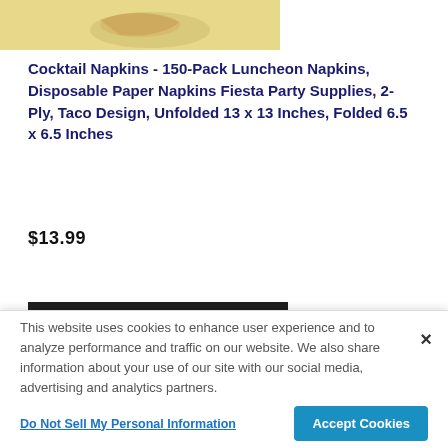[Figure (photo): Top portion of product image showing cocktail napkins with taco design on yellow/beige background]
Cocktail Napkins - 150-Pack Luncheon Napkins, Disposable Paper Napkins Fiesta Party Supplies, 2-Ply, Taco Design, Unfolded 13 x 13 Inches, Folded 6.5 x 6.5 Inches
$13.99
[Figure (photo): Bottom portion of product image showing dark/black background section]
This website uses cookies to enhance user experience and to analyze performance and traffic on our website. We also share information about your use of our site with our social media, advertising and analytics partners.
Do Not Sell My Personal Information
Accept Cookies